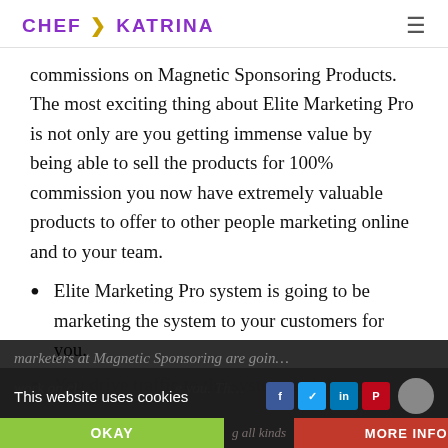CHEF K KATRINA
commissions on Magnetic Sponsoring Products. The most exciting thing about Elite Marketing Pro is not only are you getting immense value by being able to sell the products for 100% commission you now have extremely valuable products to offer to other people marketing online and to your team.
Elite Marketing Pro system is going to be marketing the system to your customers for you.
You drive traffic to the system and the pro
marketers at Magnetic Sponsoring are goin... work on cl... ...e you. Th... ...g all kinds...
This website uses cookies
OKAY
MORE INFO